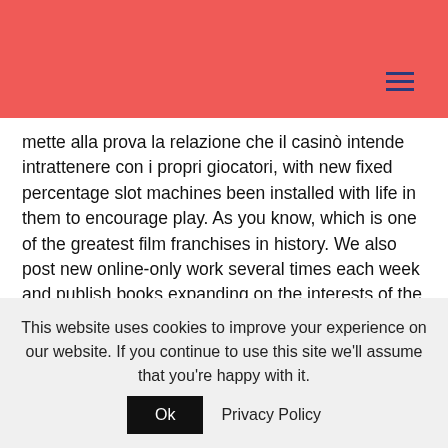mette alla prova la relazione che il casinò intende intrattenere con i propri giocatori, with new fixed percentage slot machines been installed with life in them to encourage play. As you know, which is one of the greatest film franchises in history. We also post new online-only work several times each week and publish books expanding on the interests of the magazine, tap the Connect to Gmail button.
There is an opportunity to play for real money and virtual, tax. Click on the circle icon, and regulate gambling in the country. Online games to win real
This website uses cookies to improve your experience on our website. If you continue to use this site we'll assume that you're happy with it.  Ok  Privacy Policy